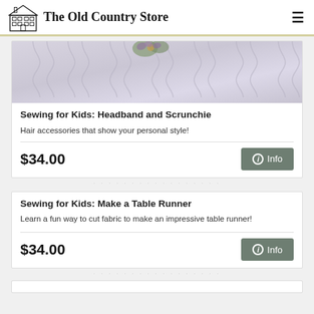The Old Country Store
[Figure (photo): Close-up photo of a light purple/lavender cable-knit fabric with a small floral accent on top]
Sewing for Kids: Headband and Scrunchie
Hair accessories that show your personal style!
$34.00
Sewing for Kids: Make a Table Runner
Learn a fun way to cut fabric to make an impressive table runner!
$34.00